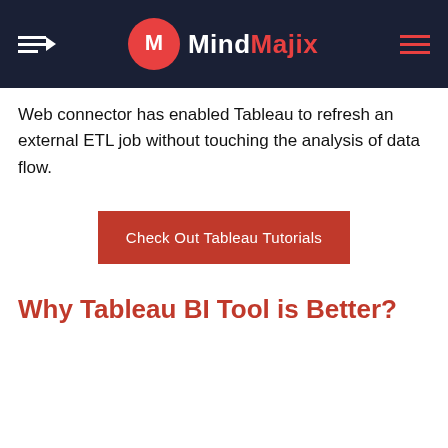MindMajix
Web connector has enabled Tableau to refresh an external ETL job without touching the analysis of data flow.
Check Out Tableau Tutorials
Why Tableau BI Tool is Better?